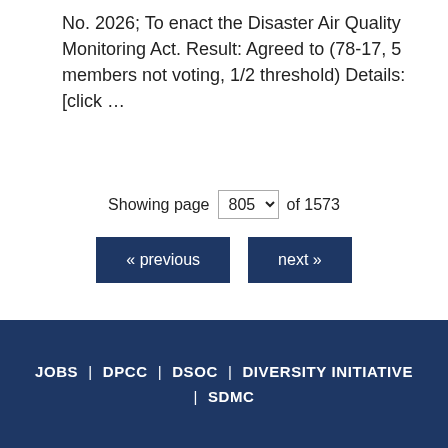No. 2026; To enact the Disaster Air Quality Monitoring Act. Result: Agreed to (78-17, 5 members not voting, 1/2 threshold) Details: [click …
Showing page 805 of 1573
« previous  next »
JOBS  |  DPCC  |  DSOC  |  DIVERSITY INITIATIVE  |  SDMC